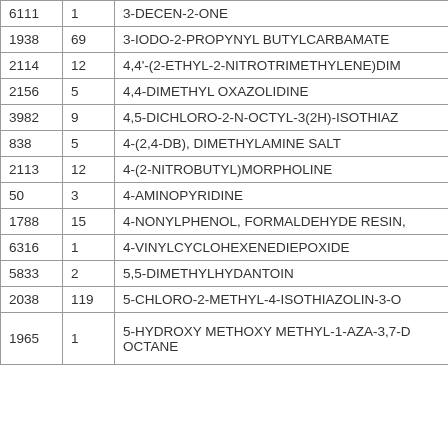| ID | Count | Name |
| --- | --- | --- |
| 6111 | 1 | 3-DECEN-2-ONE |
| 1938 | 69 | 3-IODO-2-PROPYNYL BUTYLCARBAMATE |
| 2114 | 12 | 4,4'-(2-ETHYL-2-NITROTRIMETHYLENE)DIM... |
| 2156 | 5 | 4,4-DIMETHYL OXAZOLIDINE |
| 3982 | 9 | 4,5-DICHLORO-2-N-OCTYL-3(2H)-ISOTHIAZ... |
| 838 | 5 | 4-(2,4-DB), DIMETHYLAMINE SALT |
| 2113 | 12 | 4-(2-NITROBUTYL)MORPHOLINE |
| 50 | 3 | 4-AMINOPYRIDINE |
| 1788 | 15 | 4-NONYLPHENOL, FORMALDEHYDE RESIN, ... |
| 6316 | 1 | 4-VINYLCYCLOHEXENEDIEPOXIDE |
| 5833 | 2 | 5,5-DIMETHYLHYDANTOIN |
| 2038 | 119 | 5-CHLORO-2-METHYL-4-ISOTHIAZOLIN-3-O... |
| 1965 | 1 | 5-HYDROXY METHOXY METHYL-1-AZA-3,7-D... OCTANE |